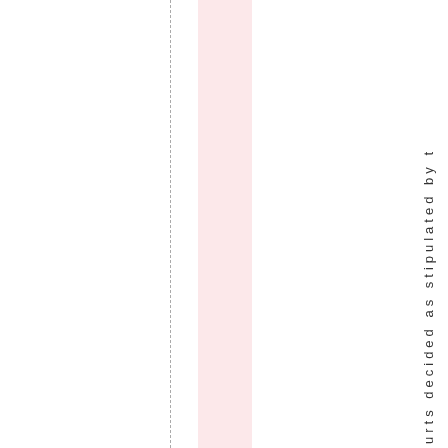[Figure (other): Page layout with dashed vertical column guide lines, a pink highlighted column, and vertically oriented text reading 'urts decided as stipulated by t' running down the right side of the page.]